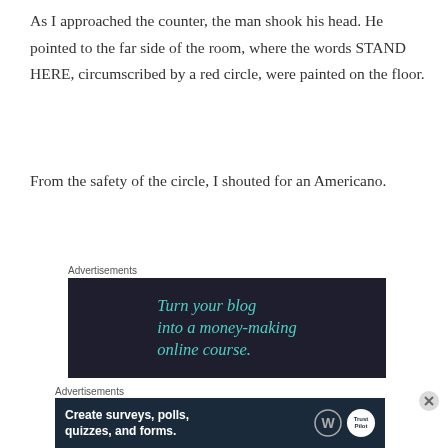As I approached the counter, the man shook his head. He pointed to the far side of the room, where the words STAND HERE, circumscribed by a red circle, were painted on the floor.
From the safety of the circle, I shouted for an Americano.
Advertisements
[Figure (infographic): Dark navy advertisement banner reading 'Turn your blog into a money-making online course.' in teal italic text]
Advertisements
[Figure (infographic): Dark blue advertisement banner with WordPress and TrustPilot logos reading 'Create surveys, polls, quizzes, and forms.']